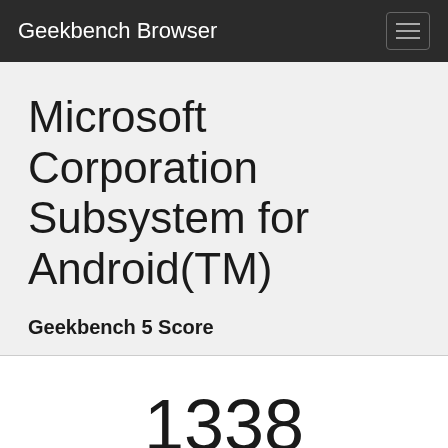Geekbench Browser
Microsoft Corporation Subsystem for Android(TM)
Geekbench 5 Score
1338
Single-Core Score